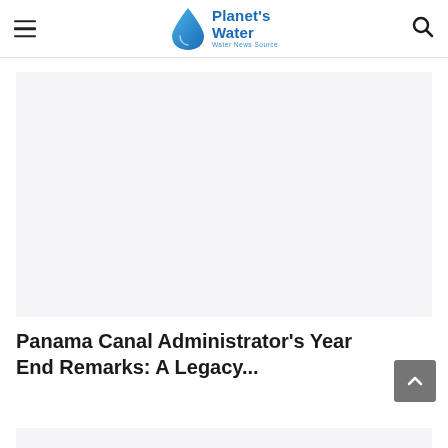Planet's Water — Water News Source
[Figure (photo): Article featured image placeholder — light grey rectangular area]
Panama Canal Administrator's Year End Remarks: A Legacy...